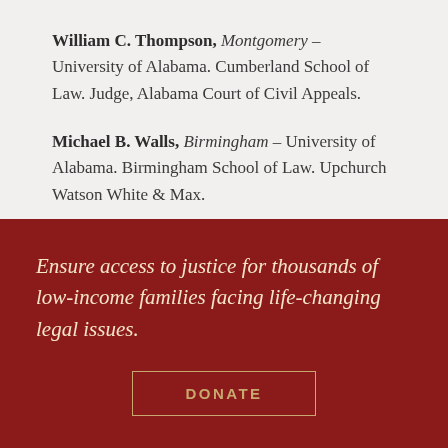William C. Thompson, Montgomery – University of Alabama. Cumberland School of Law. Judge, Alabama Court of Civil Appeals.
Michael B. Walls, Birmingham – University of Alabama. Birmingham School of Law. Upchurch Watson White & Max.
Ensure access to justice for thousands of low-income families facing life-changing legal issues.
DONATE